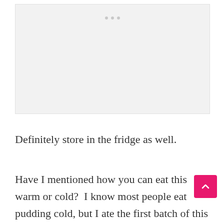[Figure (other): Placeholder image area with three dots at top, light gray background]
Definitely store in the fridge as well.
Have I mentioned how you can eat this warm or cold?  I know most people eat pudding cold, but I ate the first batch of this while it was st hot and it tasted incredible.  I couldn't help